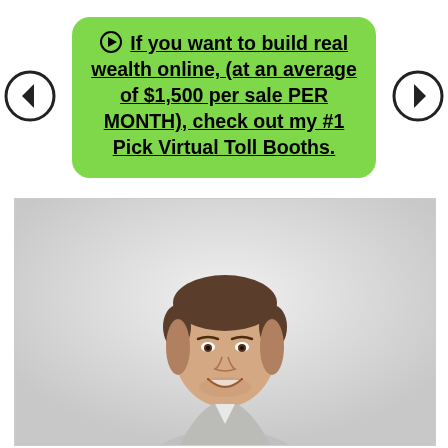If you want to build real wealth online, (at an average of $1,500 per sale PER MONTH), check out my #1 Pick Virtual Toll Booths.
[Figure (photo): Photo of a smiling man with short brown hair wearing a light grey blazer, photographed against a light grey/white background.]